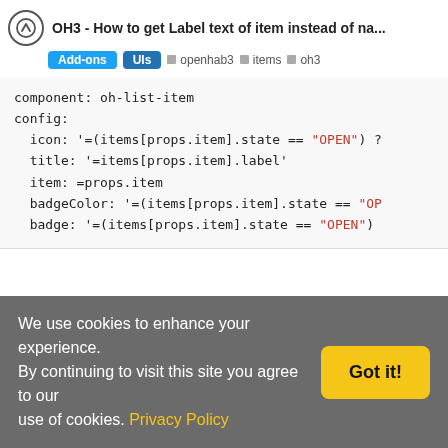OH3 - How to get Label text of item instead of na... | Add-ons | UIs | openhab3 | items | oh3
component: oh-list-item
config:
  icon: '=(items[props.item].state == "OPEN") ?
  title: '=items[props.item].label'
  item: =props.item
  badgeColor: '=(items[props.item].state == "OP
  badge: '=(items[props.item].state == "OPEN")
If I change the title to '=items[props.item].state' it shows:
[Figure (screenshot): Dark themed UI editor showing widget: windowstate_list with a row labeled TILTED and an orange TILTED badge, with Save (Ctrl+S) button]
We use cookies to enhance your experience. By continuing to visit this site you agree to our use of cookies. Privacy Policy